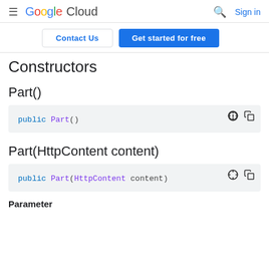Google Cloud — Search, Sign in
[Figure (screenshot): Navigation buttons: Contact Us and Get started for free]
Constructors
Part()
public Part()
Part(HttpContent content)
public Part(HttpContent content)
Parameter